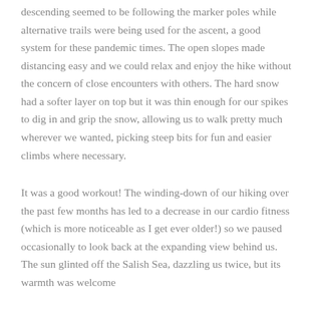descending seemed to be following the marker poles while alternative trails were being used for the ascent, a good system for these pandemic times. The open slopes made distancing easy and we could relax and enjoy the hike without the concern of close encounters with others. The hard snow had a softer layer on top but it was thin enough for our spikes to dig in and grip the snow, allowing us to walk pretty much wherever we wanted, picking steep bits for fun and easier climbs where necessary.
It was a good workout! The winding-down of our hiking over the past few months has led to a decrease in our cardio fitness (which is more noticeable as I get ever older!) so we paused occasionally to look back at the expanding view behind us. The sun glinted off the Salish Sea, dazzling us twice, but its warmth was welcome